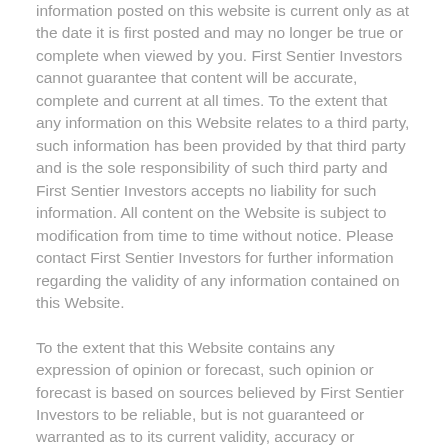information posted on this website is current only as at the date it is first posted and may no longer be true or complete when viewed by you. First Sentier Investors cannot guarantee that content will be accurate, complete and current at all times. To the extent that any information on this Website relates to a third party, such information has been provided by that third party and is the sole responsibility of such third party and First Sentier Investors accepts no liability for such information. All content on the Website is subject to modification from time to time without notice. Please contact First Sentier Investors for further information regarding the validity of any information contained on this Website.
To the extent that this Website contains any expression of opinion or forecast, such opinion or forecast is based on sources believed by First Sentier Investors to be reliable, but is not guaranteed or warranted as to its current validity, accuracy or completeness. Opinions expressed represent the